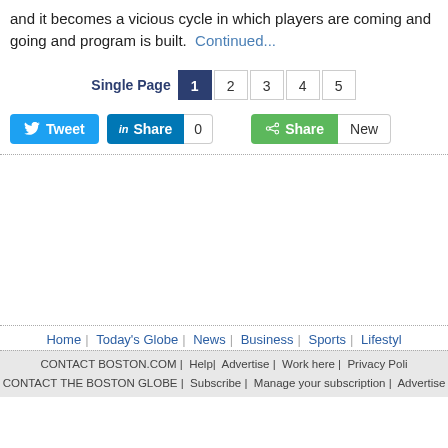and it becomes a vicious cycle in which players are coming and going and program is built. Continued...
[Figure (screenshot): Pagination bar with Single Page label and page numbers 1 (active), 2, 3, 4, 5]
[Figure (screenshot): Social sharing buttons: Tweet (Twitter), LinkedIn Share with count 0, green Share button and New button]
Home | Today's Globe | News | Business | Sports | Lifestyl...
CONTACT BOSTON.COM | Help | Advertise | Work here | Privacy Poli... | CONTACT THE BOSTON GLOBE | Subscribe | Manage your subscription | Advertise...